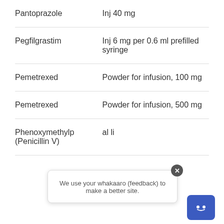| Pantoprazole | Inj 40 mg |
| Pegfilgrastim | Inj 6 mg per 0.6 ml prefilled syringe |
| Pemetrexed | Powder for infusion, 100 mg |
| Pemetrexed | Powder for infusion, 500 mg |
| Phenoxymethylp... (Penicillin V) | ...al li... |
We use your whakaaro (feedback) to make a better site.